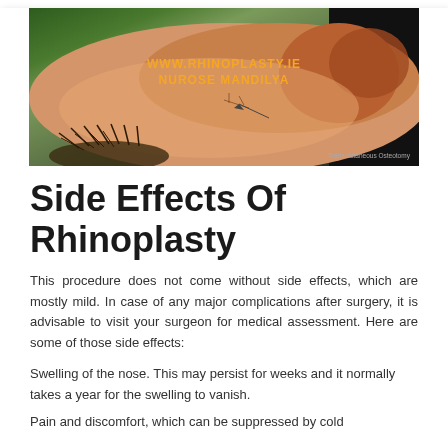[Figure (photo): Close-up photo of a human nose showing rhinoplasty incision area with sutures visible; watermark text reads WWW.RHINOPLASTY.IE / NUROSE MANDILYA; caption reads Trans-cutaneous Osteotomy]
Side Effects Of Rhinoplasty
This procedure does not come without side effects, which are mostly mild. In case of any major complications after surgery, it is advisable to visit your surgeon for medical assessment. Here are some of those side effects:
Swelling of the nose. This may persist for weeks and it normally takes a year for the swelling to vanish.
Pain and discomfort, which can be suppressed by cold